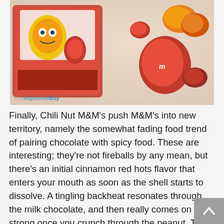[Figure (photo): Close-up photo of Chili Nut M&M's package with red and orange M&M candies scattered on a white surface. The M&M's mascot and 'TheImpulsiveBuy' watermark visible in lower-left corner.]
Finally, Chili Nut M&M's push M&M's into new territory, namely the somewhat fading food trend of pairing chocolate with spicy food. These are interesting; they're not fireballs by any mean, but there's an initial cinnamon red hots flavor that enters your mouth as soon as the shell starts to dissolve. A tingling backheat resonates through the milk chocolate, and then really comes on strong once you crunch through the peanut. The last sensation you get is